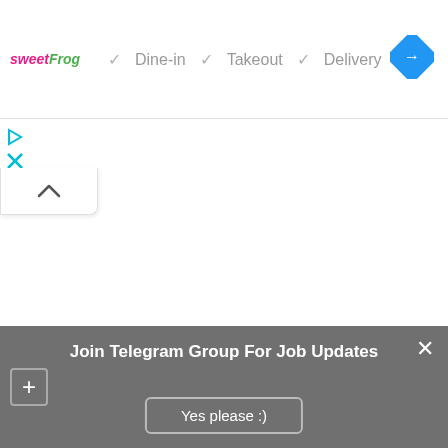[Figure (screenshot): sweetFrog logo with pink 'sweet' and green 'Frog' text]
✓ Dine-in  ✓ Takeout  ✓ Delivery
[Figure (logo): Blue diamond navigation/directions icon with white right-turn arrow]
[Figure (other): Small cyan play/audio icon]
[Figure (other): Small cyan X/close icon]
[Figure (other): White up-chevron collapse tab button]
Join Telegram Group For Job Updates
Yes please :)